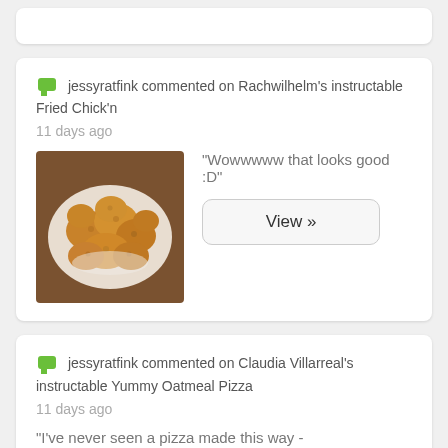jessyratfink commented on Rachwilhelm's instructable Fried Chick'n
11 days ago
[Figure (photo): Photo of fried chicken pieces on a plate]
"Wowwwww that looks good :D"
View »
jessyratfink commented on Claudia Villarreal's instructable Yummy Oatmeal Pizza
11 days ago
"I've never seen a pizza made this way - looks delicious :D"